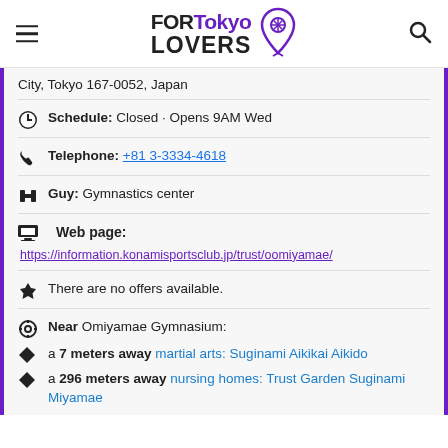FORTokyo LOVERS
City, Tokyo 167-0052, Japan
Schedule: Closed · Opens 9AM Wed
Telephone: +81 3-3334-4618
Guy: Gymnastics center
Web page:
https://information.konamisportsclub.jp/trust/oomiyamae/
There are no offers available.
Near Omiyamae Gymnasium:
a 7 meters away martial arts: Suginami Aikikai Aikido
a 296 meters away nursing homes: Trust Garden Suginami Miyamae